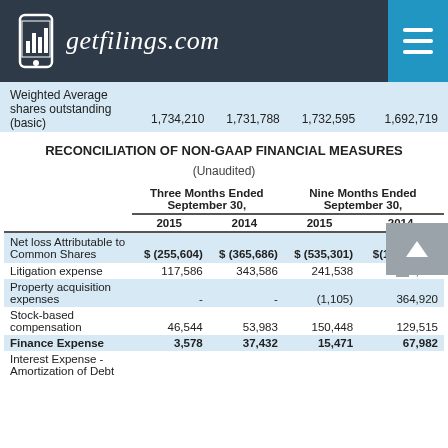getfilings.com
|  | 1,734,210 | 1,731,788 | 1,732,595 | 1,692,719 |
| --- | --- | --- | --- | --- |
| Weighted Average shares outstanding (basic) | 1,734,210 | 1,731,788 | 1,732,595 | 1,692,719 |
RECONCILIATION OF NON-GAAP FINANCIAL MEASURES
(Unaudited)
|  | Three Months Ended September 30, 2015 | Three Months Ended September 30, 2014 | Nine Months Ended September 30, 2015 | Nine Months Ended September 30, 2014 |
| --- | --- | --- | --- | --- |
| Net loss Attributable to Common Shares | $(255,604) | $(365,686) | $(535,301) | $(1,070,316) |
| Litigation expense | 117,586 | 343,586 | 241,538 | 645,005 |
| Property acquisition expenses | - | - | (1,105) | 364,920 |
| Stock-based compensation | 46,544 | 53,983 | 150,448 | 129,515 |
| Finance Expense | 3,578 | 37,432 | 15,471 | 67,982 |
| Interest Expense - Amortization of Debt |  |  |  |  |